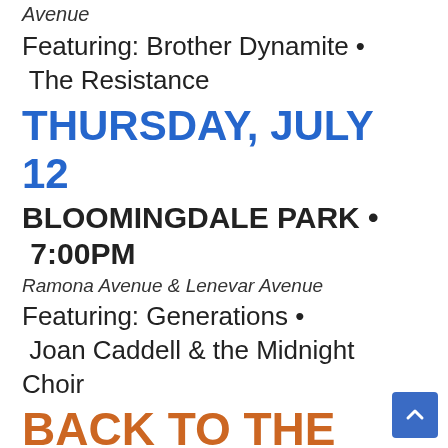Avenue
Featuring:  Brother Dynamite • The Resistance
THURSDAY, JULY 12
BLOOMINGDALE PARK • 7:00PM
Ramona Avenue & Lenevar Avenue
Featuring:  Generations • Joan Caddell & the Midnight Choir
BACK TO THE BEACH
SATURDAY JULY 14 & SUNDAY JULY 15
CLICK HERE FOR MORE